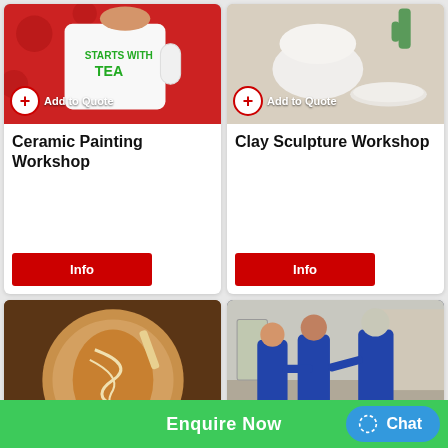[Figure (photo): Ceramic mug with 'Starts with Tea' text being held, red polka dot background]
Ceramic Painting Workshop
Info
[Figure (photo): White clay sculpted bowl and round lid with cactus in background]
Clay Sculpture Workshop
Info
[Figure (photo): Latte art coffee with swirl pattern being poured]
[Figure (photo): Men in blue uniforms practicing martial arts/karate indoors]
Enquire Now   Chat